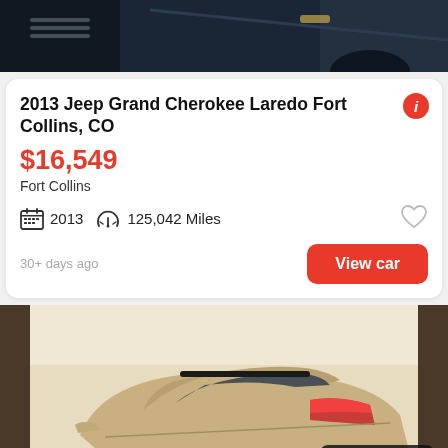[Figure (photo): Top portion of a dark Jeep Grand Cherokee vehicle photo]
2013 Jeep Grand Cherokee Laredo Fort Collins, CO
$16,549
Fort Collins
2013  125,042 Miles
30+ days ago
View car
[Figure (photo): Rear three-quarter view of a gold/champagne Porsche Macan SUV on a turntable, with a 'See photo >' overlay button in the bottom right corner]